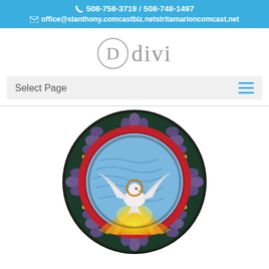📞 508-758-3719 / 508-748-1497
✉ office@stanthony.comcastbiz.netstritamarioncomcast.net
[Figure (logo): Divi logo: circle with letter D followed by text 'divi' in grey serif font]
Select Page
[Figure (illustration): Circular stained glass window illustration featuring a white dove with wings spread, descending with a halo, radiating golden/yellow light rays at bottom, surrounded by a red ring, blue background with swirling lines, and an outer decorative border with purple floral/leaf motifs on dark blue/green background.]